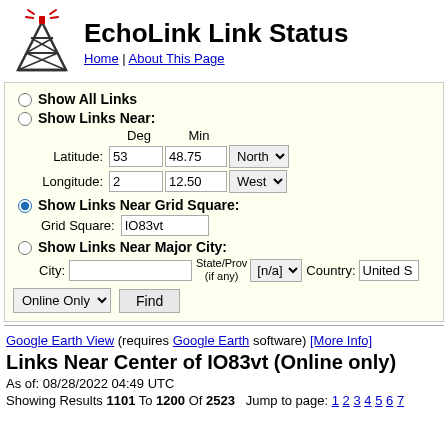EchoLink Link Status
Home | About This Page
Show All Links
Show Links Near:
Latitude: 53 Deg 48.75 Min North
Longitude: 2 Deg 12.50 Min West
Show Links Near Grid Square:
Grid Square: IO83vt
Show Links Near Major City:
City: State/Prov (if any): [n/a] Country: United S
Online Only  Find
Google Earth View (requires Google Earth software) [More Info]
Links Near Center of IO83vt (Online only)
As of: 08/28/2022 04:49 UTC
Showing Results 1101 To 1200 Of 2523   Jump to page: 1 2 3 4 5 6 7